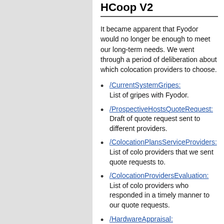HCoop V2
It became apparent that Fyodor would no longer be enough to meet our long-term needs. We went through a period of deliberation about which colocation providers to choose.
/CurrentSystemGripes: List of gripes with Fyodor.
/ProspectiveHostsQuoteRequest: Draft of quote request sent to different providers.
/ColocationPlansServiceProviders: List of colo providers that we sent quote requests to.
/ColocationProvidersEvaluation: List of colo providers who responded in a timely manner to our quote requests.
/HardwareAppraisal: Hardware that we were considering at the time.
/HardwareDonations: